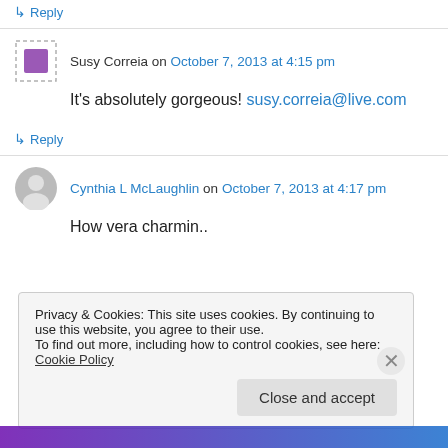↳ Reply
Susy Correia on October 7, 2013 at 4:15 pm
It's absolutely gorgeous! susy.correia@live.com
↳ Reply
Cynthia L McLaughlin on October 7, 2013 at 4:17 pm
How vera charmin..
Privacy & Cookies: This site uses cookies. By continuing to use this website, you agree to their use. To find out more, including how to control cookies, see here: Cookie Policy
Close and accept